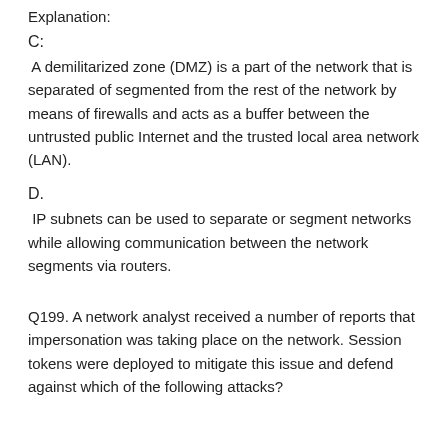Explanation:
C:
A demilitarized zone (DMZ) is a part of the network that is separated of segmented from the rest of the network by means of firewalls and acts as a buffer between the untrusted public Internet and the trusted local area network (LAN).
D.
IP subnets can be used to separate or segment networks while allowing communication between the network segments via routers.
Q199. A network analyst received a number of reports that impersonation was taking place on the network. Session tokens were deployed to mitigate this issue and defend against which of the following attacks?